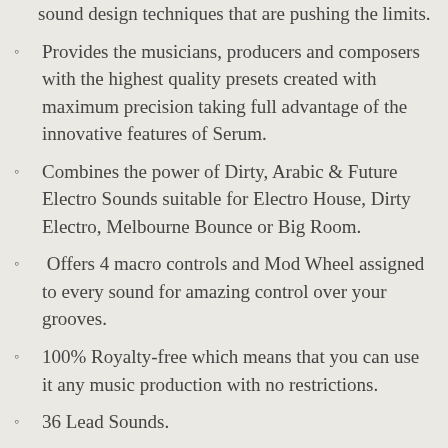sound design techniques that are pushing the limits.
Provides the musicians, producers and composers with the highest quality presets created with maximum precision taking full advantage of the innovative features of Serum.
Combines the power of Dirty, Arabic & Future Electro Sounds suitable for Electro House, Dirty Electro, Melbourne Bounce or Big Room.
Offers 4 macro controls and Mod Wheel assigned to every sound for amazing control over your grooves.
100% Royalty-free which means that you can use it any music production with no restrictions.
36 Lead Sounds.
8 Synth Sounds.
16 Bass Sounds.
4 Pluck Sounds.